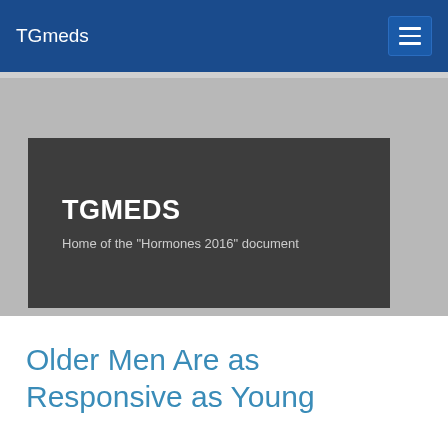TGmeds
[Figure (screenshot): TGmeds website banner showing 'TGMEDS — Home of the "Hormones 2016" document' on a dark overlay box against a grey hero background]
Older Men Are as Responsive as Young